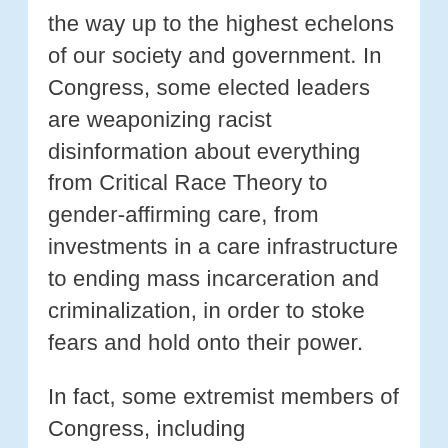the way up to the highest echelons of our society and government. In Congress, some elected leaders are weaponizing racist disinformation about everything from Critical Race Theory to gender-affirming care, from investments in a care infrastructure to ending mass incarceration and criminalization, in order to stoke fears and hold onto their power.
In fact, some extremist members of Congress, including Representatives Scott Perry of Pennsylvania, Matt Gaetz of Florida, Marjorie Taylor Greene of Georgia, and even Elisa Stefanik of New York, the third-ranking House Republican, who